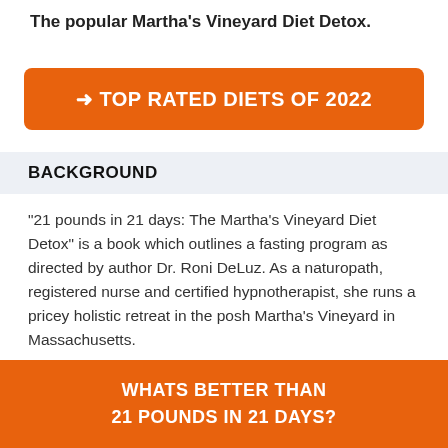The popular Martha's Vineyard Diet Detox.
[Figure (other): Orange button with text '→ TOP RATED DIETS OF 2022']
BACKGROUND
“21 pounds in 21 days: The Martha’s Vineyard Diet Detox” is a book which outlines a fasting program as directed by author Dr. Roni DeLuz. As a naturopath, registered nurse and certified hypnotherapist, she runs a pricey holistic retreat in the posh Martha’s Vineyard in Massachusetts.
Her detox program fell into prominence in June of 2007, when Robin Quivers of the “Howard Stern Show” used her
[Figure (other): Orange button at bottom with text 'WHATS BETTER THAN 21 POUNDS IN 21 DAYS?']